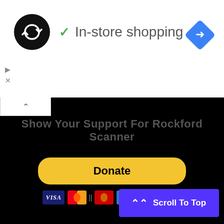[Figure (logo): Circular black logo with infinity/loop arrows symbol]
✓ In-store shopping
[Figure (logo): Blue diamond navigation icon with right-turn arrow]
▷
X
Show Your Support For Rockford Scanner
[Figure (other): PayPal Donate button with payment card icons: VISA, Mastercard, American Express, Discover, eCheck]
Sponsors | Advertise on Rockford Scanner | Contact Us | FOIA Frequently Asked Questions | About Us | Rickie's Website Volunteer for Rockford Scanner | DONATE Terms | Youtube | Listen to Scanner Online
Scroll To Top